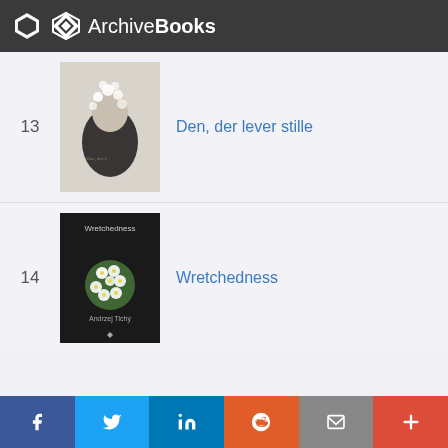ArchiveBooks
[Figure (screenshot): Book cover for 'Den, der lever stille' - black and white photo of a woman with flowers on her head]
13  Den, der lever stille
[Figure (photo): Book cover for 'Wretchedness' by Andrzej Tichy - dark background with a bouquet of white flowers]
14  Wretchedness